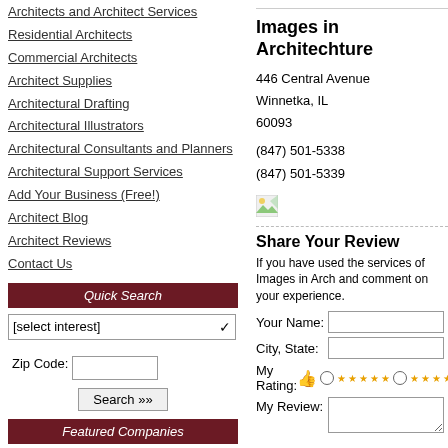Architects and Architect Services
Residential Architects
Commercial Architects
Architect Supplies
Architectural Drafting
Architectural Illustrators
Architectural Consultants and Planners
Architectural Support Services
Add Your Business (Free!)
Architect Blog
Architect Reviews
Contact Us
Quick Search
[select interest]
Zip Code:
Search »»
Featured Companies
Sustainable Design Consulting LLC in Richmond, VA
Midwest Design Group Inc in Janesville
Images in Architechture
446 Central Avenue
Winnetka, IL
60093
(847) 501-5338
(847) 501-5339
[Figure (illustration): Small broken/placeholder image icon]
Share Your Review
If you have used the services of Images in Arch... and comment on your experience.
Your Name:
City, State:
My Rating:
My Review: